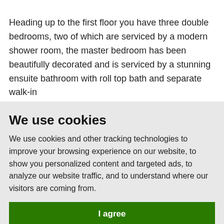Heading up to the first floor you have three double bedrooms, two of which are serviced by a modern shower room, the master bedroom has been beautifully decorated and is serviced by a stunning ensuite bathroom with roll top bath and separate walk-in
We use cookies
We use cookies and other tracking technologies to improve your browsing experience on our website, to show you personalized content and targeted ads, to analyze our website traffic, and to understand where our visitors are coming from.
I agree